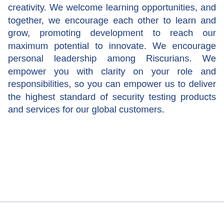creativity. We welcome learning opportunities, and together, we encourage each other to learn and grow, promoting development to reach our maximum potential to innovate. We encourage personal leadership among Riscurians. We empower you with clarity on your role and responsibilities, so you can empower us to deliver the highest standard of security testing products and services for our global customers.